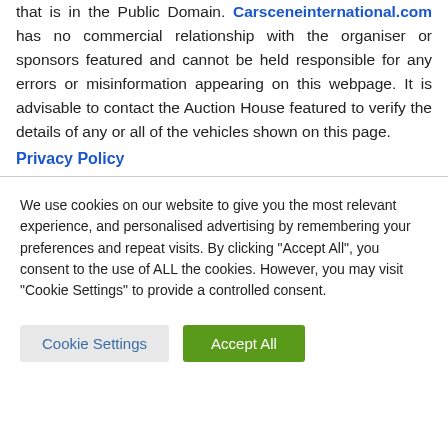that is in the Public Domain. Carsceneinternational.com has no commercial relationship with the organiser or sponsors featured and cannot be held responsible for any errors or misinformation appearing on this webpage. It is advisable to contact the Auction House featured to verify the details of any or all of the vehicles shown on this page.
Privacy Policy
We use cookies on our website to give you the most relevant experience, and personalised advertising by remembering your preferences and repeat visits. By clicking "Accept All", you consent to the use of ALL the cookies. However, you may visit "Cookie Settings" to provide a controlled consent.